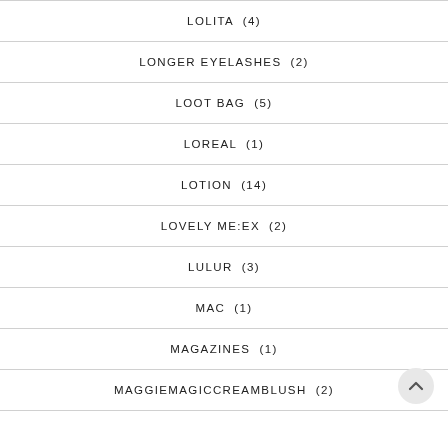LOLITA  (4)
LONGER EYELASHES  (2)
LOOT BAG  (5)
LOREAL  (1)
LOTION  (14)
LOVELY ME:EX  (2)
LULUR  (3)
MAC  (1)
MAGAZINES  (1)
MAGGIEMAGICCREAMBLUSH  (2)